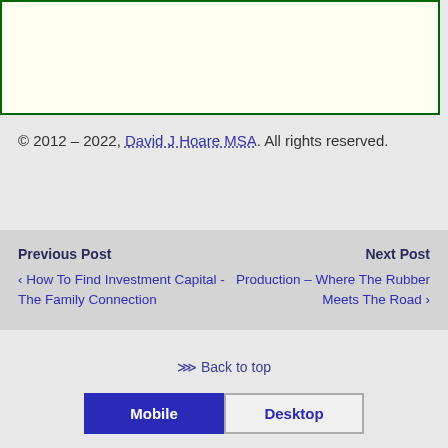© 2012 – 2022, David J Hoare MSA. All rights reserved.
Previous Post
‹ How To Find Investment Capital - The Family Connection
Next Post
Production – Where The Rubber Meets The Road ›
⇈ Back to top
Mobile   Desktop